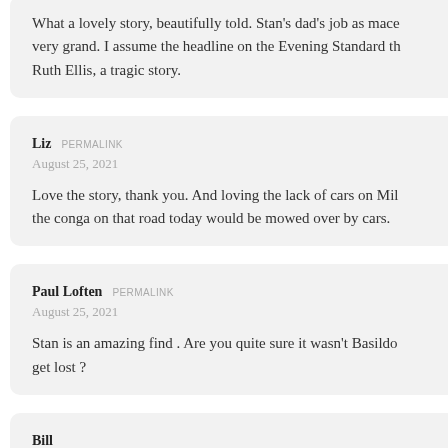What a lovely story, beautifully told. Stan's dad's job as mac… very grand. I assume the headline on the Evening Standard th… Ruth Ellis, a tragic story.
Liz  PERMALINK
August 25, 2021
Love the story, thank you. And loving the lack of cars on Mil… the conga on that road today would be mowed over by cars.
Paul Loften  PERMALINK
August 25, 2021
Stan is an amazing find . Are you quite sure it wasn't Basildo… get lost ?
Bill